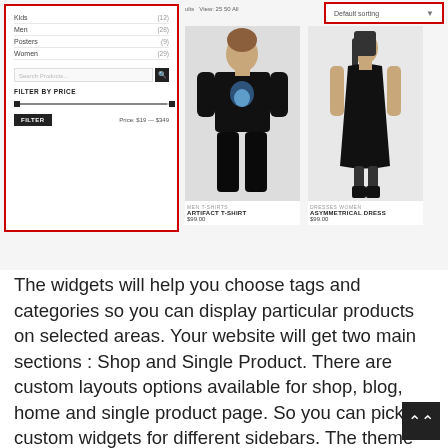[Figure (screenshot): E-commerce website screenshot showing a left sidebar with category list (Kids, Men, Posters, Women), search box, filter by price section with slider and FILTER button showing Price: $19 - $349. Red border highlights the sidebar. Right side shows product grid with two items: Abstract T-Shirt ($99.00) and Asymmetrical Dress ($99.00). Top right shows Default sorting dropdown highlighted in red.]
The widgets will help you choose tags and categories so you can display particular products on selected areas. Your website will get two main sections : Shop and Single Product. There are custom layouts options available for shop, blog, home and single product page. So you can pick custom widgets for different sidebars. The theme gives you cart page, check-out page for easy shopping process.